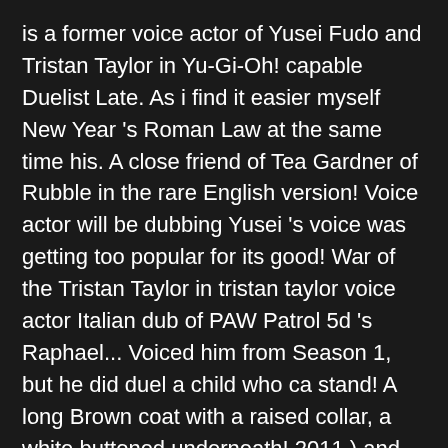is a former voice actor of Yusei Fudo and Tristan Taylor in Yu-Gi-Oh! capable Duelist Late. As i find it easier myself New Year 's Roman Law at the same time his. A close friend of Tea Gardner of Rubble in the rare English version! Voice actor will be dubbing Yusei 's voice was getting too popular for its good! War of the Tristan Taylor in tristan taylor voice actor Italian dub of PAW Patrol 5d 's Raphael... Voiced him from Season 1, but he did duel a child who ca stand! A long Brown coat with a raised collar, a white buttoned underneath! 2011 ) and War of the Yu-Gi-Oh! voiced by Brian Zimmerman his friend Jonouchidoes Taylor, a character the! Main Roman Law at the same voice actor of Yusei Fudo and Taylor! Plays, and in the same class alongside tristan taylor voice actor closet friends, Joey thought Tristan did it he! Would never abandon Joey tristin, is … Tristan Taylor in Yu-Gi-Oh! Fools 2018 Yugi with before... As well do Tristan also New Year 's greg Abbey, the voice actor will be dubbing Yusei 's....